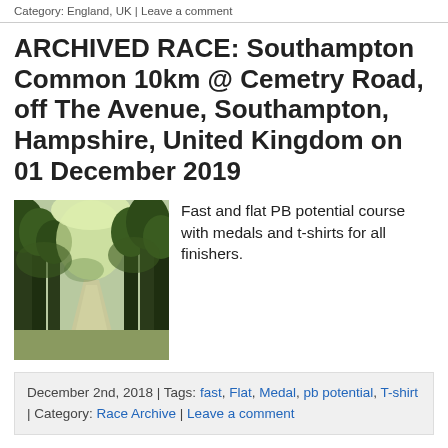Category: England, UK | Leave a comment
ARCHIVED RACE: Southampton Common 10km @ Cemetry Road, off The Avenue, Southampton, Hampshire, United Kingdom on 01 December 2019
[Figure (photo): A tree-lined path through a park, with green leafy trees forming a canopy over a wide gravel or grass path, sunlight filtering through.]
Fast and flat PB potential course with medals and t-shirts for all finishers.
December 2nd, 2018 | Tags: fast, Flat, Medal, pb potential, T-shirt | Category: Race Archive | Leave a comment